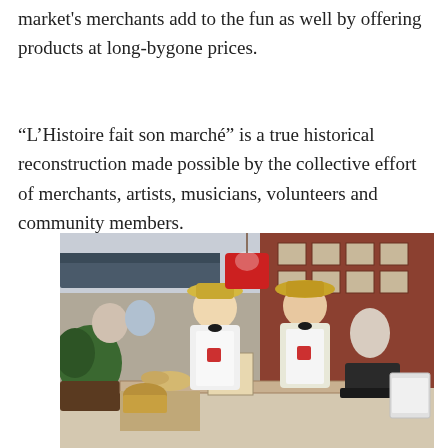market's merchants add to the fun as well by offering products at long-bygone prices.
“L’Histoire fait son marché” is a true historical reconstruction made possible by the collective effort of merchants, artists, musicians, volunteers and community members.
[Figure (photo): Two men standing at an outdoor market stall wearing white aprons and bow ties with straw hats. They are in front of a red wooden building. Market produce and goods are visible on the table and surrounding area.]